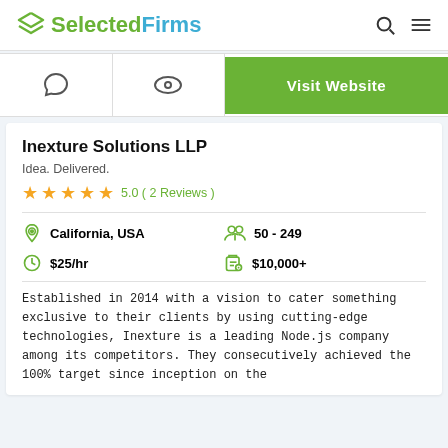SelectedFirms
[Figure (screenshot): Action bar with chat icon, eye icon, and Visit Website green button]
Inexture Solutions LLP
Idea. Delivered.
5.0 (2 Reviews)
California, USA
50 - 249
$25/hr
$10,000+
Established in 2014 with a vision to cater something exclusive to their clients by using cutting-edge technologies, Inexture is a leading Node.js company among its competitors. They consecutively achieved the 100% target since inception on the